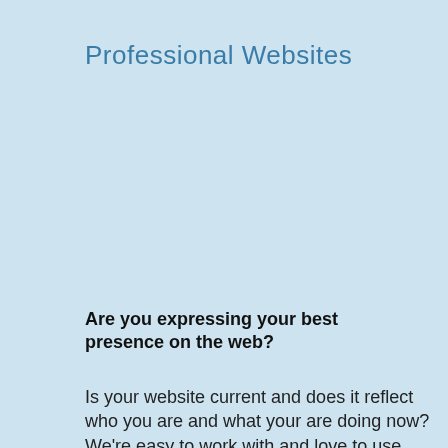Professional Websites
Are you expressing your best presence on the web?
Is your website current and does it reflect who you are and what your are doing now? We're easy to work with and love to use our creativity to